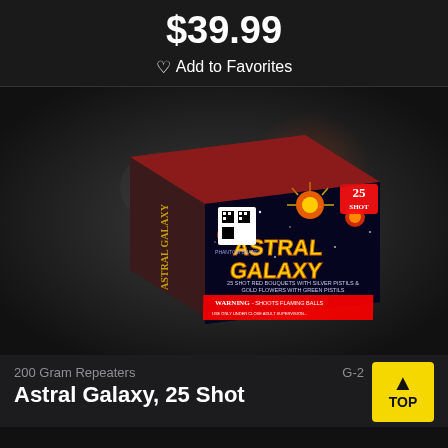$39.99
♡ Add to Favorites
[Figure (photo): Photo of Astral Galaxy 25 Shot 200 Gram Repeater firework box by Phantom Brand, showing colorful box art with fireworks imagery, QR code, and warning label.]
200 Gram Repeaters
Astral Galaxy, 25 Shot
G-2
TOP